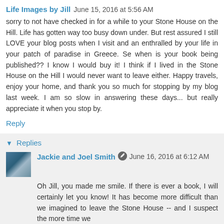Life Images by Jill  June 15, 2016 at 5:56 AM
sorry to not have checked in for a while to your Stone House on the Hill. Life has gotten way too busy down under. But rest assured I still LOVE your blog posts when I visit and an enthralled by your life in your patch of paradise in Greece. Se when is your book being published?? I know I would buy it! I think if I lived in the Stone House on the Hill I would never want to leave either. Happy travels, enjoy your home, and thank you so much for stopping by my blog last week. I am so slow in answering these days... but really appreciate it when you stop by.
Reply
Replies
Jackie and Joel Smith  June 16, 2016 at 6:12 AM
Oh Jill, you made me smile. If there is ever a book, I will certainly let you know! It has become more difficult than we imagined to leave the Stone House -- and I suspect the more time we